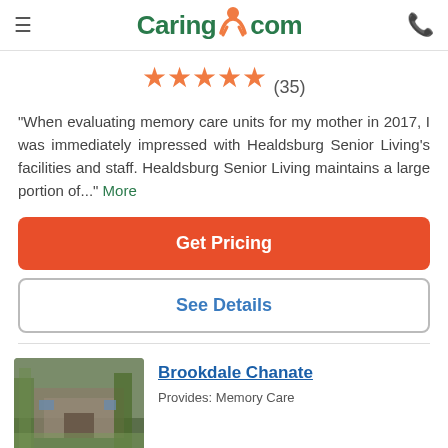Caring.com
★★★★★ (35)
"When evaluating memory care units for my mother in 2017, I was immediately impressed with Healdsburg Senior Living's facilities and staff. Healdsburg Senior Living maintains a large portion of..." More
Get Pricing
See Details
[Figure (photo): Exterior photo of Brookdale Chanate, showing a building with trees and a pathway]
Brookdale Chanate
Provides: Memory Care